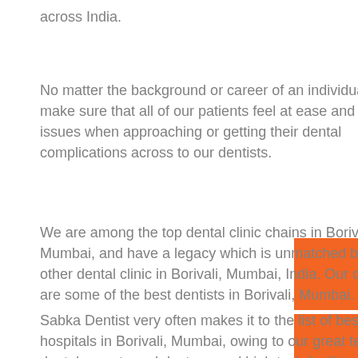across India.
No matter the background or career of an individual, we make sure that all of our patients feel at ease and face no issues when approaching or getting their dental complications across to our dentists.
We are among the top dental clinic chains in Borivali, Mumbai, and have a legacy which is unmatched by any other dental clinic in Borivali, Mumbai, India. Our dentists are some of the best dentists in Borivali, Mumbai.
Sabka Dentist very often makes it to the list of best dental hospitals in Borivali, Mumbai, owing to our great team of dental experts and doctors, and high tech facilities within our dental clinics.